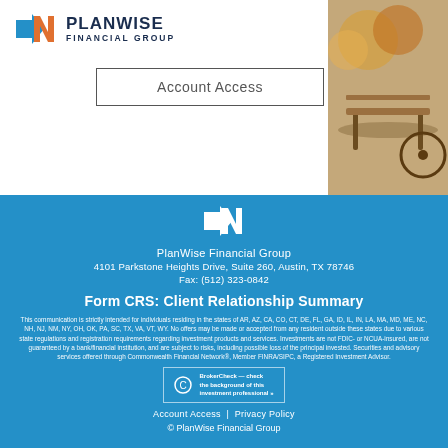[Figure (logo): PlanWise Financial Group logo with arrow/N icon in blue and orange, company name in navy]
Account Access
[Figure (photo): Outdoor photo showing a park bench, blurred autumn background]
[Figure (logo): PlanWise white logo icon on blue background]
PlanWise Financial Group
4101 Parkstone Heights Drive, Suite 260, Austin, TX 78746
Fax: (512) 323-0842
Form CRS: Client Relationship Summary
This communication is strictly intended for individuals residing in the states of AR, AZ, CA, CO, CT, DE, FL, GA, ID, IL, IN, LA, MA, MD, ME, NC, NH, NJ, NM, NY, OH, OK, PA, SC, TX, VA, VT, WY. No offers may be made or accepted from any resident outside these states due to various state regulations and registration requirements regarding investment products and services. Investments are not FDIC- or NCUA-insured, are not guaranteed by a bank/financial institution, and are subject to risks, including possible loss of the principal invested. Securities and advisory services offered through Commonwealth Financial Network®, Member FINRA/SIPC, a Registered Investment Advisor.
[Figure (logo): BrokerCheck badge - check the background of this investment professional]
Account Access  |  Privacy Policy
© PlanWise Financial Group